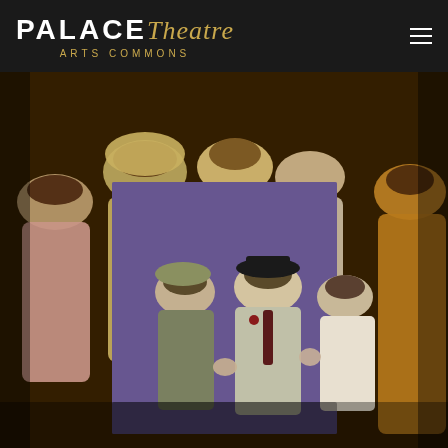[Figure (logo): Palace Theatre Arts Commons logo — white blocky uppercase PALACE text followed by gold italic cursive Theatre text, with ARTS COMMONS in gold spaced capitals below]
[Figure (photo): Two overlapping theatrical performance photos. Background: ensemble cast in period costumes (19th century style) with women wearing bonnets and long dresses in warm tones. Foreground center: three men in early 20th century suits and hats on a purple-lit stage, appearing to be in a confrontational scene.]